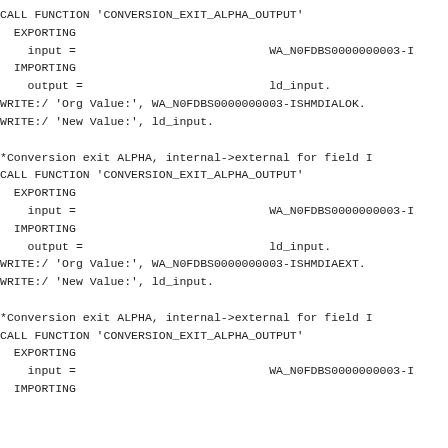CALL FUNCTION 'CONVERSION_EXIT_ALPHA_OUTPUT'
  EXPORTING
    input =                            WA_N0FDBS0000000003-I
  IMPORTING
    output =                           ld_input.
WRITE:/ 'Org Value:', WA_N0FDBS0000000003-ISHMDIALOK.
WRITE:/ 'New Value:', ld_input.

*Conversion exit ALPHA, internal->external for field I
CALL FUNCTION 'CONVERSION_EXIT_ALPHA_OUTPUT'
  EXPORTING
    input =                            WA_N0FDBS0000000003-I
  IMPORTING
    output =                           ld_input.
WRITE:/ 'Org Value:', WA_N0FDBS0000000003-ISHMDIAEXT.
WRITE:/ 'New Value:', ld_input.

*Conversion exit ALPHA, internal->external for field I
CALL FUNCTION 'CONVERSION_EXIT_ALPHA_OUTPUT'
  EXPORTING
    input =                            WA_N0FDBS0000000003-I
  IMPORTING